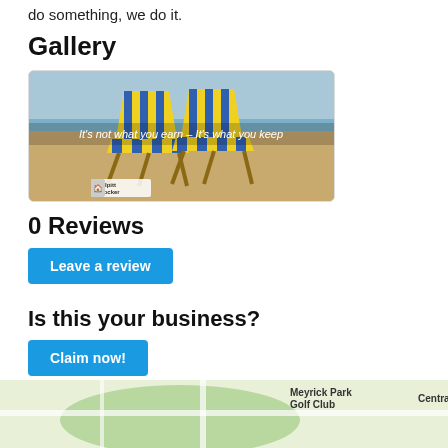do something, we do it.
Gallery
[Figure (photo): Beach scene with two striped deck chairs (blue and yellow) on sand near the sea, with text overlay: 'It's not what you earn – It's what you keep' and a Bulpitt Crocker logo in the bottom left.]
0 Reviews
Leave a review
Is this your business?
Claim now!
Add rich content via our editing tools
Remove ads from your listing
Appear more prominently in search results
[Figure (map): Street/park map showing Meyrick Park Golf Club area]